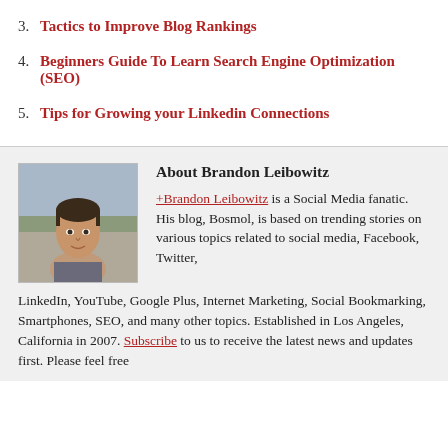3. Tactics to Improve Blog Rankings
4. Beginners Guide To Learn Search Engine Optimization (SEO)
5. Tips for Growing your Linkedin Connections
[Figure (photo): Portrait photo of Brandon Leibowitz, a young man with short dark hair, outdoors with a blurred background]
About Brandon Leibowitz
+Brandon Leibowitz is a Social Media fanatic. His blog, Bosmol, is based on trending stories on various topics related to social media, Facebook, Twitter, LinkedIn, YouTube, Google Plus, Internet Marketing, Social Bookmarking, Smartphones, SEO, and many other topics. Established in Los Angeles, California in 2007. Subscribe to us to receive the latest news and updates first. Please feel free